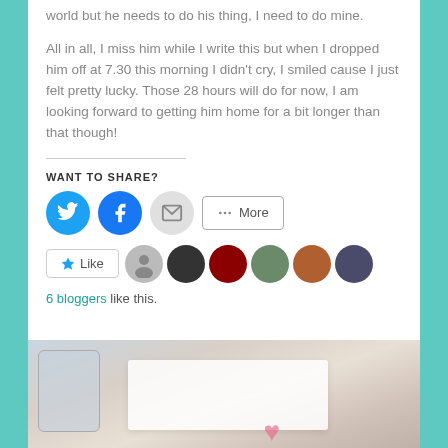world but he needs to do his thing, I need to do mine.
All in all, I miss him while I write this but when I dropped him off at 7.30 this morning I didn't cry, I smiled cause I just felt pretty lucky. Those 28 hours will do for now, I am looking forward to getting him home for a bit longer than that though!
WANT TO SHARE?
[Figure (infographic): Social share buttons: Twitter (blue circle), Facebook (blue circle), Email (grey circle), More button]
[Figure (infographic): Like button with star icon, followed by 6 avatar thumbnails of bloggers]
6 bloggers like this.
[Figure (photo): Bottom portion of a photo showing what appears to be a tablet/phone and papers on a surface]